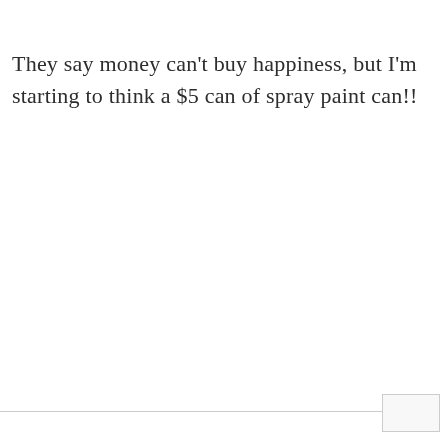They say money can't buy happiness, but I'm starting to think a $5 can of spray paint can!!